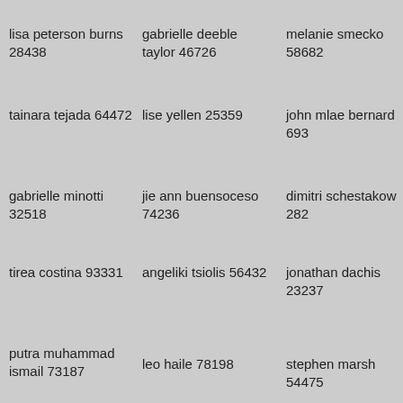lisa peterson burns 28438
gabrielle deeble taylor 46726
melanie smecko 58682
tainara tejada 64472
lise yellen 25359
john mlae bernard 693
gabrielle minotti 32518
jie ann buensoceso 74236
dimitri schestakow 282
tirea costina 93331
angeliki tsiolis 56432
jonathan dachis 23237
putra muhammad ismail 73187
leo haile 78198
stephen marsh 54475